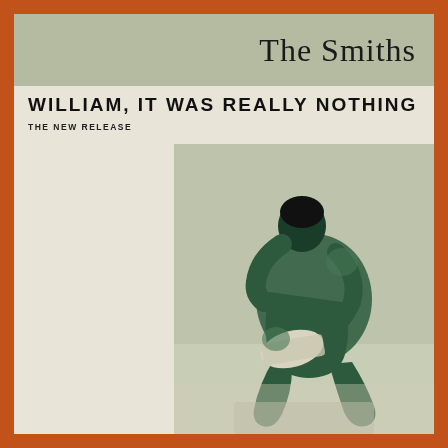The Smiths
WILLIAM, IT WAS REALLY NOTHING
THE NEW RELEASE
[Figure (photo): Black and white duotone photograph in green tones of a shirtless young man crouching or sitting, hunched over with head bowed, reading or holding something white, against a muted background.]